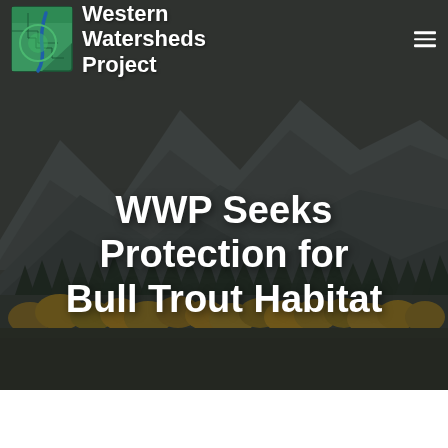[Figure (photo): Hero image of a mountain landscape with autumn trees (golden aspens and dark evergreens) in the foreground and rugged grey mountains in the background under an overcast sky, serving as a website header background.]
Western Watersheds Project
WWP Seeks Protection for Bull Trout Habitat